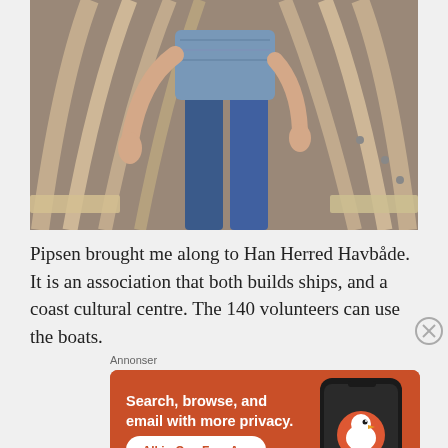[Figure (photo): Person standing inside the wooden hull frame of a boat under construction. The curved wooden ribs of the boat are visible around them. The person is wearing jeans and a patterned top.]
Pipsen brought me along to Han Herred Havbåde. It is an association that both builds ships, and a coast cultural centre. The 140 volunteers can use the boats.
Annonser
[Figure (other): DuckDuckGo advertisement. Orange background with white text: 'Search, browse, and email with more privacy.' and a white button reading 'All in One Free App'. Right side shows a smartphone with the DuckDuckGo duck logo and the text 'DuckDuckGo.']